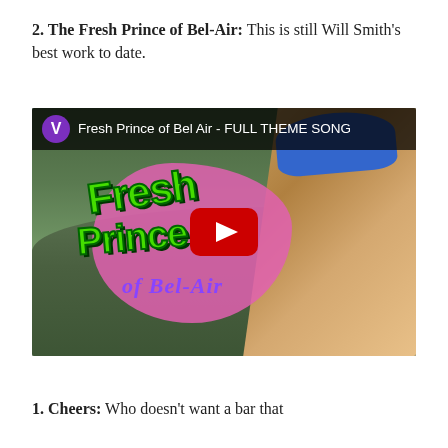2. The Fresh Prince of Bel-Air: This is still Will Smith's best work to date.
[Figure (screenshot): YouTube video thumbnail for 'Fresh Prince of Bel Air - FULL THEME SONG' showing Will Smith with the Fresh Prince of Bel-Air logo and a YouTube play button overlay]
1. Cheers: Who doesn't want a bar that